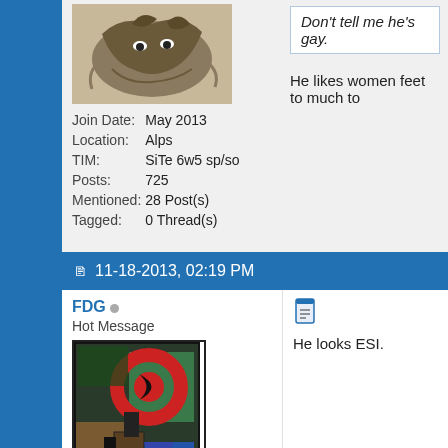[Figure (photo): Avatar image showing a dark etching/drawing of animals (appears to be horses or mythological creatures)]
| Join Date: | May 2013 |
| Location: | Alps |
| TIM: | SiTe 6w5 sp/so |
| Posts: | 725 |
| Mentioned: | 28 Post(s) |
| Tagged: | 0 Thread(s) |
Don't tell me he's gay.
He likes women feet to much to
11-18-2013, 02:19 PM
FDG
Hot Message
[Figure (photo): Abstract colorful painting with red circular/sun shape, black crescent, and geometric shapes in green, blue, brown tones]
He looks ESI.